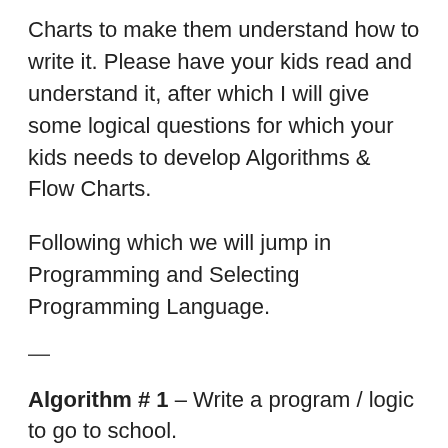Charts to make them understand how to write it. Please have your kids read and understand it, after which I will give some logical questions for which your kids needs to develop Algorithms & Flow Charts.
Following which we will jump in Programming and Selecting Programming Language.
—
Algorithm # 1 – Write a program / logic to go to school.
STEP1: Wake up / Get up
STEP2: What is the Day Today?